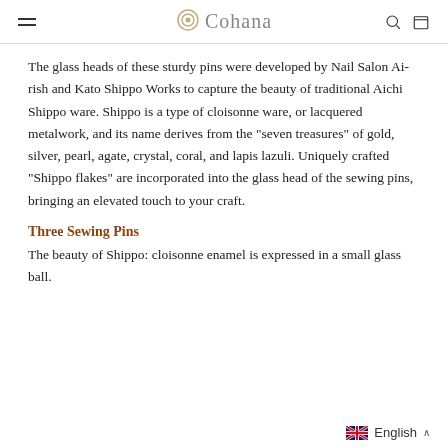Cohana
The glass heads of these sturdy pins were developed by Nail Salon Ai-rish and Kato Shippo Works to capture the beauty of traditional Aichi Shippo ware. Shippo is a type of cloisonne ware, or lacquered metalwork, and its name derives from the "seven treasures" of gold, silver, pearl, agate, crystal, coral, and lapis lazuli. Uniquely crafted "Shippo flakes" are incorporated into the glass head of the sewing pins, bringing an elevated touch to your craft.
Three Sewing Pins
The beauty of Shippo: cloisonne enamel is expressed in a small glass ball.
English